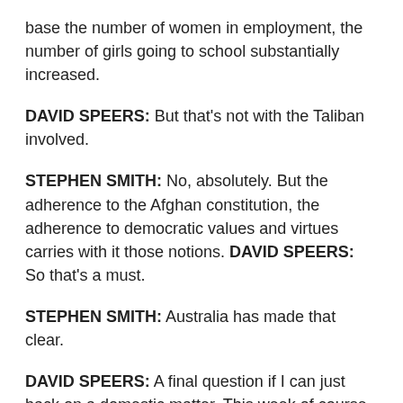base the number of women in employment, the number of girls going to school substantially increased.
DAVID SPEERS: But that’s not with the Taliban involved.
STEPHEN SMITH: No, absolutely. But the adherence to the Afghan constitution, the adherence to democratic values and virtues carries with it those notions. DAVID SPEERS: So that’s a must.
STEPHEN SMITH: Australia has made that clear.
DAVID SPEERS: A final question if I can just back on a domestic matter. This week of course is the